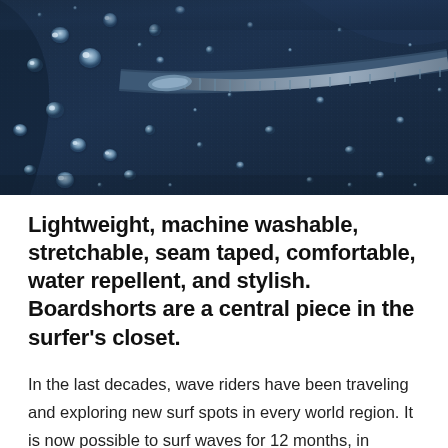[Figure (photo): Close-up macro photograph of dark blue water-repellent fabric with water droplets beading on the surface, and a zipper visible on the right side. The fabric shows a textured woven pattern with glistening water beads.]
Lightweight, machine washable, stretchable, seam taped, comfortable, water repellent, and stylish. Boardshorts are a central piece in the surfer's closet.
In the last decades, wave riders have been traveling and exploring new surf spots in every world region. It is now possible to surf waves for 12 months, in summer and warm water conditions, during the 12 months of the